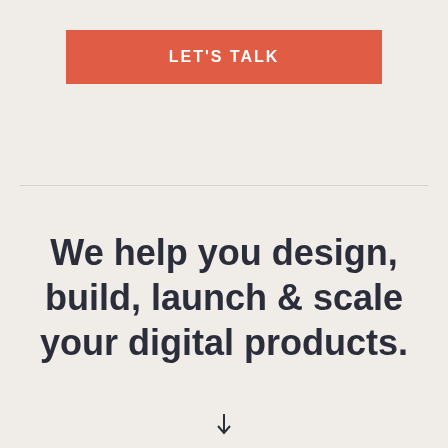LET'S TALK
We help you design, build, launch & scale your digital products.